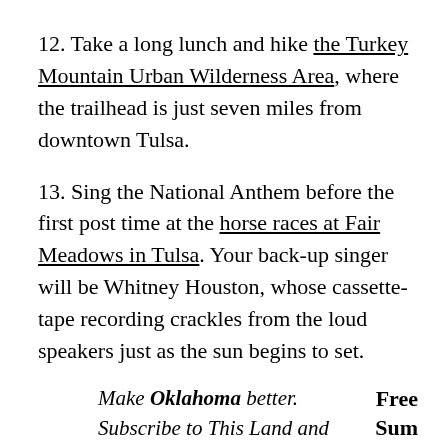12. Take a long lunch and hike the Turkey Mountain Urban Wilderness Area, where the trailhead is just seven miles from downtown Tulsa.
13. Sing the National Anthem before the first post time at the horse races at Fair Meadows in Tulsa. Your back-up singer will be Whitney Houston, whose cassette-tape recording crackles from the loud speakers just as the sun begins to set.
Make Oklahoma better. Subscribe to This Land and support local journalism in your community. Free Summer Fun
14. Make sure the acoustics of the Center of the Universe, in downtown Tulsa just north of the BOK